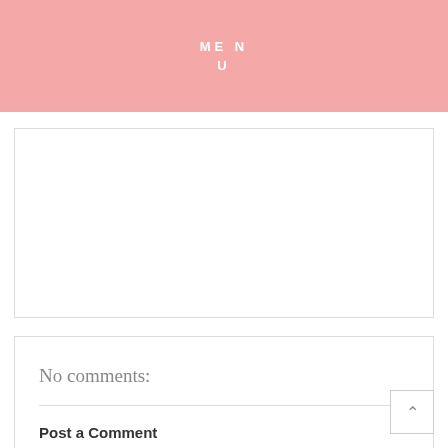MENU
[Figure (other): Empty advertisement/content box with light border]
No comments:
Post a Comment
Enter Comment